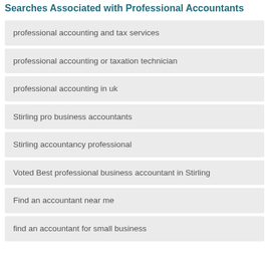Searches Associated with Professional Accountants
professional accounting and tax services
professional accounting or taxation technician
professional accounting in uk
Stirling pro business accountants
Stirling accountancy professional
Voted Best professional business accountant in Stirling
Find an accountant near me
find an accountant for small business